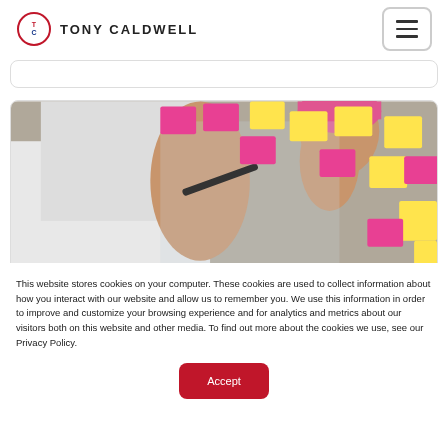TC TONY CALDWELL
[Figure (photo): Person writing on a glass surface covered with colorful pink and yellow sticky notes, holding a pen]
This website stores cookies on your computer. These cookies are used to collect information about how you interact with our website and allow us to remember you. We use this information in order to improve and customize your browsing experience and for analytics and metrics about our visitors both on this website and other media. To find out more about the cookies we use, see our Privacy Policy.
Accept